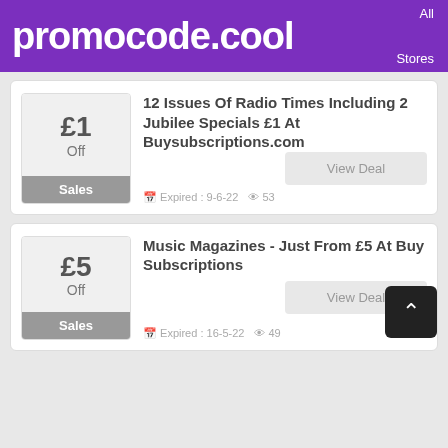promocode.cool
£1 Off — Sales — 12 Issues Of Radio Times Including 2 Jubilee Specials £1 At Buysubscriptions.com — View Deal — Expired: 9-6-22 — 53 views
£5 Off — Sales — Music Magazines - Just From £5 At Buy Subscriptions — View Deal — Expired: 16-5-22 — 49 views